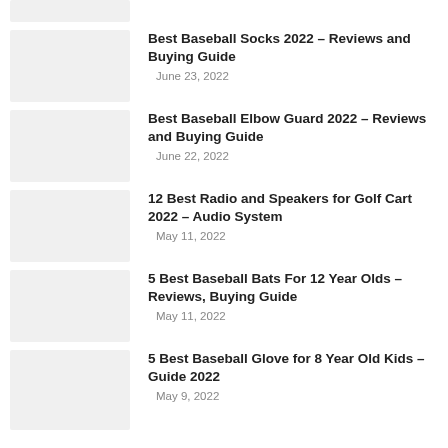[Figure (photo): Partial thumbnail image at top, cropped]
Best Baseball Socks 2022 – Reviews and Buying Guide
June 23, 2022
Best Baseball Elbow Guard 2022 – Reviews and Buying Guide
June 22, 2022
12 Best Radio and Speakers for Golf Cart 2022 – Audio System
May 11, 2022
5 Best Baseball Bats For 12 Year Olds – Reviews, Buying Guide
May 11, 2022
5 Best Baseball Glove for 8 Year Old Kids – Guide 2022
May 9, 2022